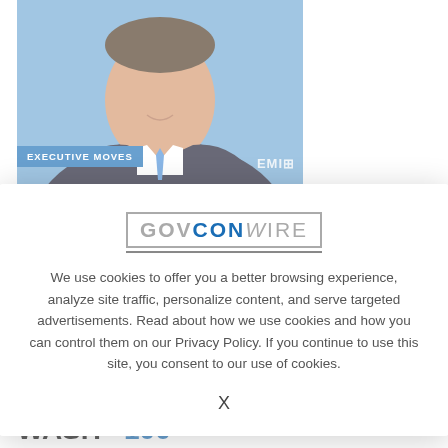[Figure (photo): Headshot of a man in a dark suit and blue tie against a light blue background, with an EXECUTIVE MOVES badge overlay in the lower left and EMI logo in lower right]
Dell EMC Federal Vet Brian Kane
B
[Figure (logo): GOVCONWIRE logo with GOV in gray, CON in blue, WIRE in italic gray, inside a bordered box with underline]
We use cookies to offer you a better browsing experience, analyze site traffic, personalize content, and serve targeted advertisements. Read about how we use cookies and how you can control them on our Privacy Policy. If you continue to use this site, you consent to our use of cookies.
X
[Figure (logo): WASH100 logo with WASH in black and 100 in blue, with a horizontal bar above]